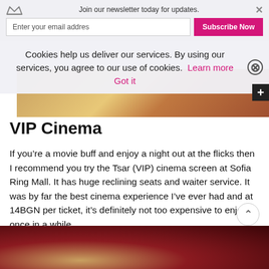Join our newsletter today for updates. Enter your email addres [Subscribe Now] ×
Cookies help us deliver our services. By using our services, you agree to our use of cookies. Learn more Got it
VIP Cinema
If you're a movie buff and enjoy a night out at the flicks then I recommend you try the Tsar (VIP) cinema screen at Sofia Ring Mall. It has huge reclining seats and waiter service. It was by far the best cinema experience I've ever had and at 14BGN per ticket, it's definitely not too expensive to enjoy once in a while.
[Figure (photo): Bottom portion of a cinema photo with dark red/maroon background and a partial view of a blonde figure]